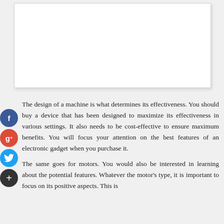[Figure (other): White rectangular image placeholder with light border and subtle shadow]
The design of a machine is what determines its effectiveness. You should buy a device that has been designed to maximize its effectiveness in various settings. It also needs to be cost-effective to ensure maximum benefits. You will focus your attention on the best features of an electronic gadget when you purchase it.
The same goes for motors. You would also be interested in learning about the potential features. Whatever the motor's type, it is important to focus on its positive aspects. This is